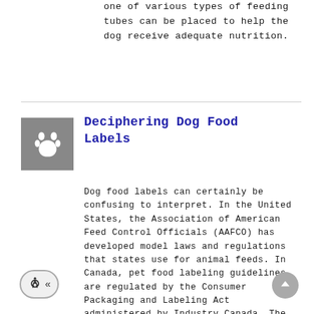one of various types of feeding tubes can be placed to help the dog receive adequate nutrition.
Deciphering Dog Food Labels
Dog food labels can certainly be confusing to interpret. In the United States, the Association of American Feed Control Officials (AAFCO) has developed model laws and regulations that states use for animal feeds. In Canada, pet food labeling guidelines are regulated by the Consumer Packaging and Labeling Act administered by Industry Canada. The Canadian government's Competition Bureau also has an extensive working group that upholds a voluntary code of conduct for the labeling and advertising of pet food. The most